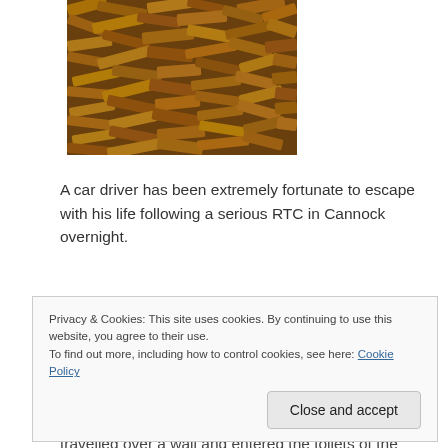[Figure (photo): Close-up photo of wood chips or mulch, golden/amber colored, filling the frame.]
A car driver has been extremely fortunate to escape with his life following a serious RTC in Cannock overnight.
The crash occurred on Watling Street, Cannock at around 1.35am. A rapid response vehicle, a community first responder, an ambulance, two paramedic officers and the Trusts MERIT and HART teams attended the
Privacy & Cookies: This site uses cookies. By continuing to use this website, you agree to their use.
To find out more, including how to control cookies, see here: Cookie Policy
travelled over a wall and entered the toilets of the